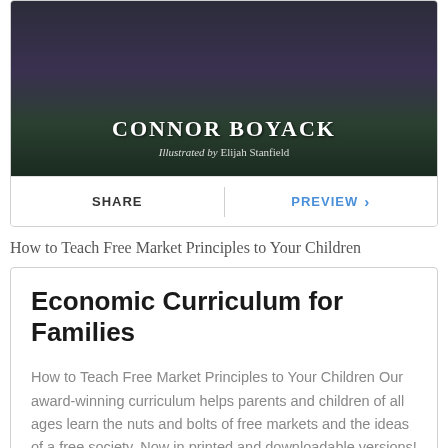[Figure (photo): Book cover image showing author name CONNOR BOYACK and illustrator credit 'Illustrated by Elijah Stanfield' on a dark background]
SHARE
PREVIEW >
How to Teach Free Market Principles to Your Children
Economic Curriculum for Families
How to Teach Free Market Principles to Your Children Our award-winning curriculum helps parents and children of all ages learn the nuts and bolts of free markets and the ideas of a free society. Now in printed and downloadable versions! Each of our 120 lessons have materials to explain the economic concept and includes: Introductory … Continue reading